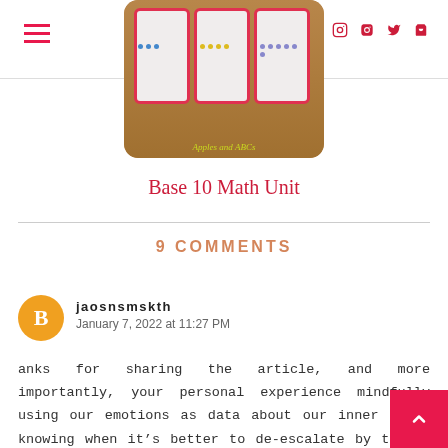Navigation header with hamburger menu and social icons
[Figure (photo): Product image showing math manipulatives/cards on a wooden surface with label 'Apples and ABCs']
Base 10 Math Unit
9 COMMENTS
jaosnsmskth
January 7, 2022 at 11:27 PM
anks for sharing the article, and more importantly, your personal experience mindfully using our emotions as data about our inner state knowing when it's better to de-escalate by taking time out are great tools. Appreciate you reading